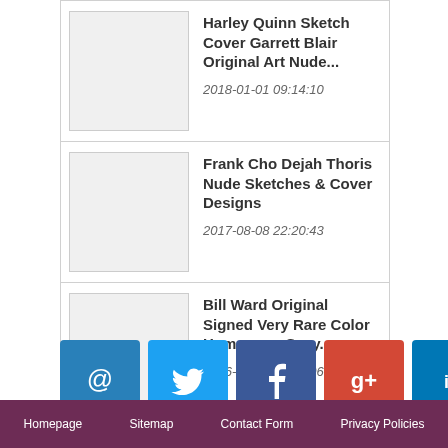Harley Quinn Sketch Cover Garrett Blair Original Art Nude... 2018-01-01 09:14:10
Frank Cho Dejah Thoris Nude Sketches & Cover Designs 2017-08-08 22:20:43
Bill Ward Original Signed Very Rare Color Humorama Sexy... 2016-12-17 09:55:06
Popular items...
[Figure (infographic): Row of 6 social media icon buttons: email (@), Twitter, Facebook, Google+, LinkedIn, Pinterest]
Homepage   Sitemap   Contact Form   Privacy Policies